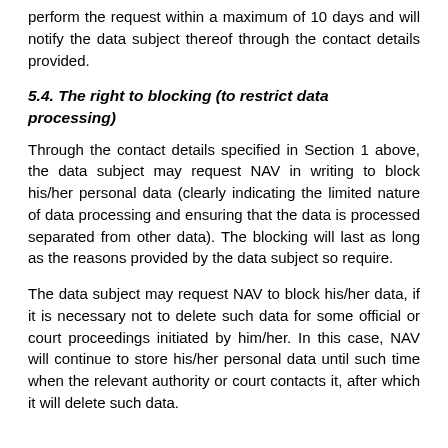perform the request within a maximum of 10 days and will notify the data subject thereof through the contact details provided.
5.4. The right to blocking (to restrict data processing)
Through the contact details specified in Section 1 above, the data subject may request NAV in writing to block his/her personal data (clearly indicating the limited nature of data processing and ensuring that the data is processed separated from other data). The blocking will last as long as the reasons provided by the data subject so require.
The data subject may request NAV to block his/her data, if it is necessary not to delete such data for some official or court proceedings initiated by him/her. In this case, NAV will continue to store his/her personal data until such time when the relevant authority or court contacts it, after which it will delete such data.